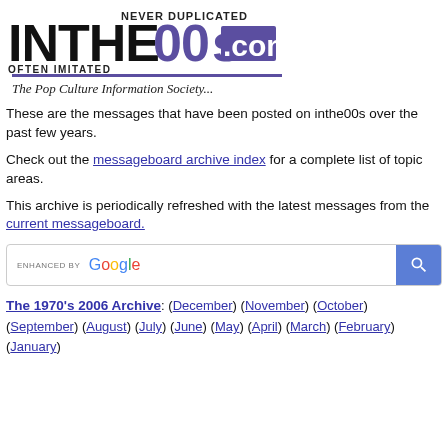[Figure (logo): InThe00s.com logo — stylized block letters 'INTHE00S.COM' in black/purple with taglines 'NEVER DUPLICATED' and 'OFTEN IMITATED']
The Pop Culture Information Society...
These are the messages that have been posted on inthe00s over the past few years.
Check out the messageboard archive index for a complete list of topic areas.
This archive is periodically refreshed with the latest messages from the current messageboard.
[Figure (other): Google enhanced search box with magnifying glass button]
The 1970's 2006 Archive: (December) (November) (October) (September) (August) (July) (June) (May) (April) (March) (February) (January)